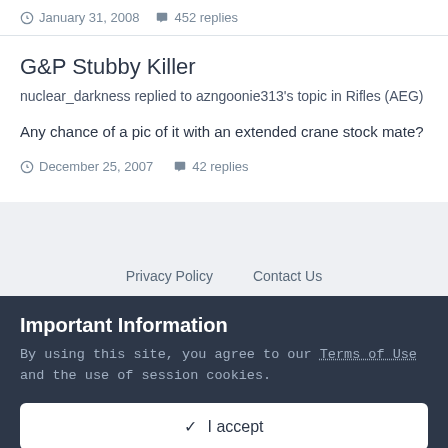January 31, 2008   452 replies
G&P Stubby Killer
nuclear_darkness replied to azngoonie313's topic in Rifles (AEG)
Any chance of a pic of it with an extended crane stock mate?
December 25, 2007   42 replies
Privacy Policy   Contact Us
Important Information
By using this site, you agree to our Terms of Use and the use of session cookies.
✓ I accept